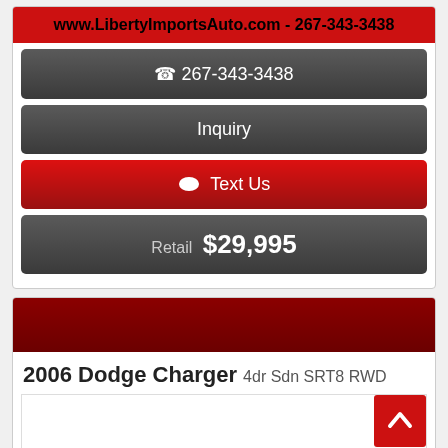www.LibertyImportsAuto.com - 267-343-3438
267-343-3438
Inquiry
Text Us
Retail $29,995
2006 Dodge Charger 4dr Sdn SRT8 RWD
[Figure (screenshot): Car image placeholder area with back-to-top button]
Text Us